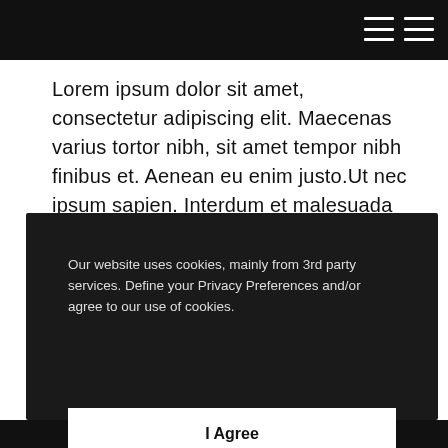Lorem ipsum dolor sit amet, consectetur adipiscing elit. Maecenas varius tortor nibh, sit amet tempor nibh finibus et. Aenean eu enim justo.Ut nec ipsum sapien. Interdum et malesuada fames ac ante ipsum primis in faucibus. Integer id nisi nec nulla luctus
Our website uses cookies, mainly from 3rd party services. Define your Privacy Preferences and/or agree to our use of cookies.
I Agree
Privacy Preferences